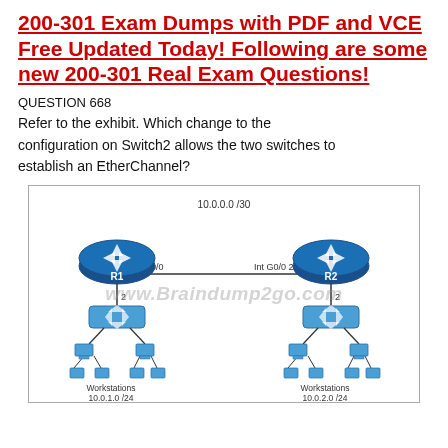200-301 Exam Dumps with PDF and VCE Free Updated Today! Following are some new 200-301 Real Exam Questions!
QUESTION 668
Refer to the exhibit. Which change to the configuration on Switch2 allows the two switches to establish an EtherChannel?
[Figure (network-graph): Network diagram showing two routers R1 and R2 connected via 10.0.0.0/30 with Int G0/0 interfaces. R1 connects to a switch (port 2) which connects to two workstations (Workstations 10.0.1.0/24). R2 connects to a switch (port 2) which connects to two workstations (Workstations 10.0.2.0/24). Watermark: www.Braindump2go.com]